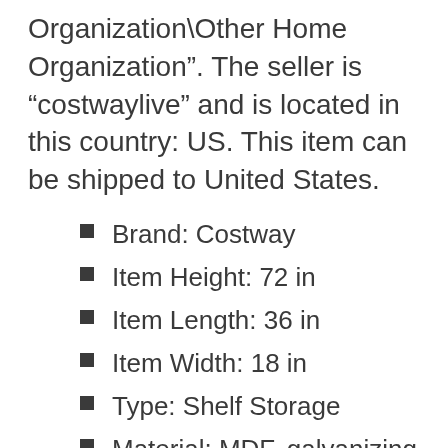Organization\Other Home Organization". The seller is “costwaylive” and is located in this country: US. This item can be shipped to United States.
Brand: Costway
Item Height: 72 in
Item Length: 36 in
Item Width: 18 in
Type: Shelf Storage
Material: MDF, galvanizing Steel